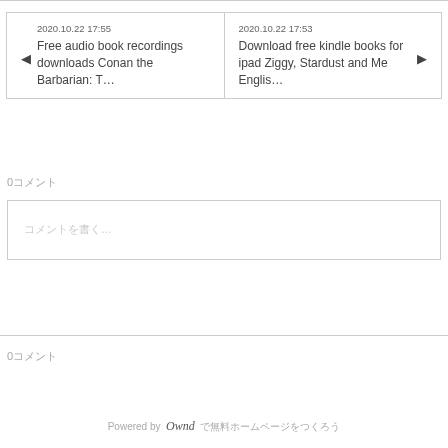2020.10.22 17:55
◄ Free audio book recordings downloads Conan the Barbarian: T…
2020.10.22 17:53
Download free kindle books for ipad Ziggy, Stardust and Me Englis… ►
0コメント
コメントを書く…
0コメント
Powered by  Ownd  で無料ホームページをつくろう